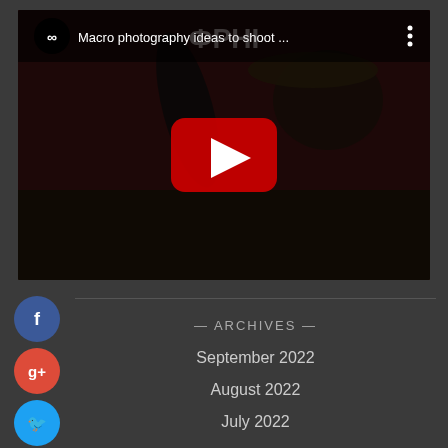[Figure (screenshot): YouTube video thumbnail showing a photographer doing macro photography, titled 'Macro photography ideas to shoot ...']
[Figure (infographic): Social media share buttons: Facebook (blue), Google+ (red), Twitter (blue), and a plus/add button (blue)]
— ARCHIVES —
September 2022
August 2022
July 2022